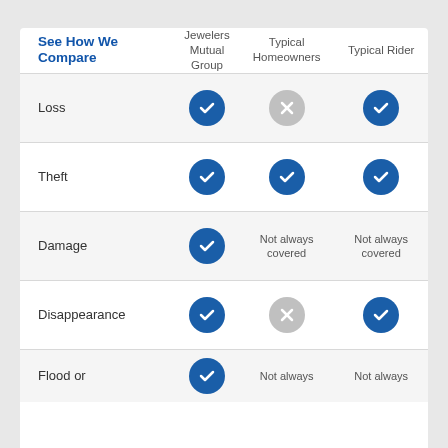| See How We Compare | Jewelers Mutual Group | Typical Homeowners | Typical Rider |
| --- | --- | --- | --- |
| Loss | ✓ | ✗ | ✓ |
| Theft | ✓ | ✓ | ✓ |
| Damage | ✓ | Not always covered | Not always covered |
| Disappearance | ✓ | ✗ | ✓ |
| Flood or | ✓ | Not always | Not always |